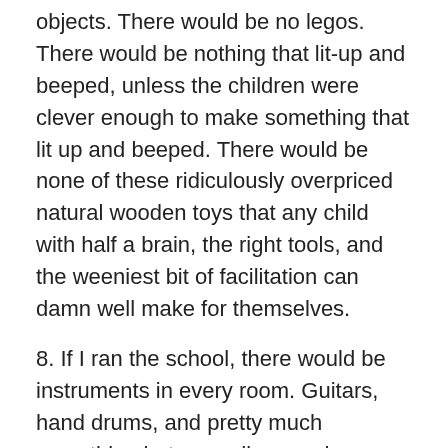objects. There would be no legos. There would be nothing that lit-up and beeped, unless the children were clever enough to make something that lit up and beeped. There would be none of these ridiculously overpriced natural wooden toys that any child with half a brain, the right tools, and the weeniest bit of facilitation can damn well make for themselves.
8. If I ran the school, there would be instruments in every room. Guitars, hand drums, and pretty much everything but accordions and nose flutes (don't ask). These instruments would be inexpensive and well-used, so that no one would be tempted to tell the students to “be careful.” No one would say “don’t play it like that.”
9. If I ran the school, the primary economics text book would be Charles Eisenstein’s Sacred Economics. The